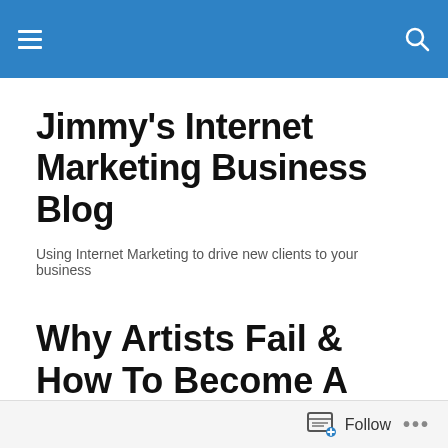Jimmy's Internet Marketing Business Blog — navigation bar
Jimmy's Internet Marketing Business Blog
Using Internet Marketing to drive new clients to your business
Why Artists Fail & How To Become A Music Promoter | Brandman Sean x Dash Radio Interview
Posted by Jimmy Dagger
Follow ...